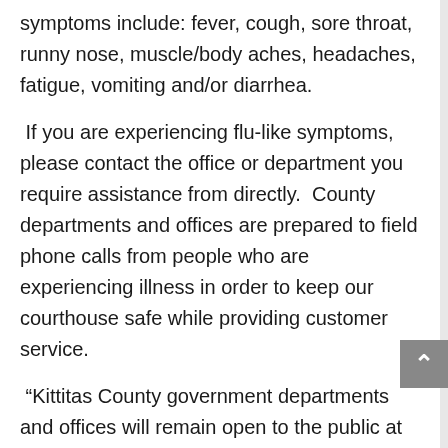symptoms include: fever, cough, sore throat, runny nose, muscle/body aches, headaches, fatigue, vomiting and/or diarrhea.
If you are experiencing flu-like symptoms, please contact the office or department you require assistance from directly.  County departments and offices are prepared to field phone calls from people who are experiencing illness in order to keep our courthouse safe while providing customer service.
“Kittitas County government departments and offices will remain open to the public at this time and we will do our best to accommodate those who are feeling ill via the phone” states Commissioner Wachsmith.  “We are working closely with the Kittitas County Public Health